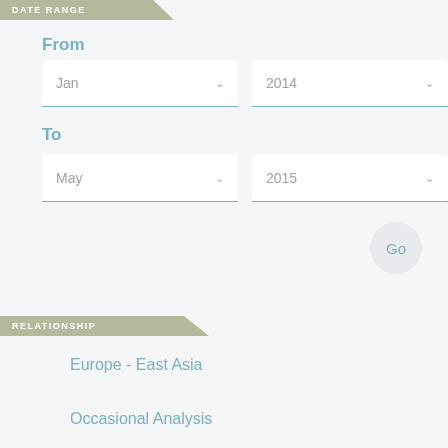DATE RANGE
From
Jan ∨
2014 ∨
To
May ∨
2015 ∨
Go
RELATIONSHIP
Europe - East Asia
Occasional Analysis